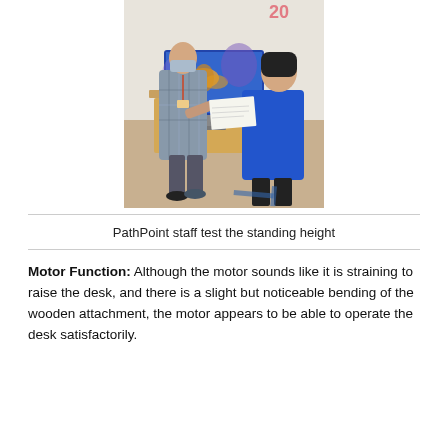[Figure (photo): Two people standing at a wooden standing desk attachment. One person is in a plaid shirt and face mask, the other is in a blue top. A computer monitor showing a butterfly image is in the background. There is a paper on the desk surface.]
PathPoint staff test the standing height
Motor Function: Although the motor sounds like it is straining to raise the desk, and there is a slight but noticeable bending of the wooden attachment, the motor appears to be able to operate the desk satisfactorily.